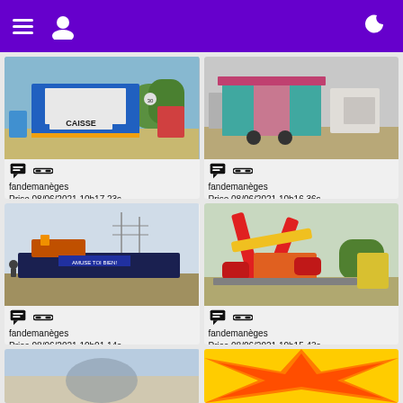Navigation header with menu, user, and moon icons
[Figure (photo): Fairground ticket booth (CAISSE) with blue and gold signage, carnival rides in background]
fandemanèges
Prise 08/06/2021 10h17 23s
Envoyée 08/06/2021 11:24
[Figure (photo): Pink and teal carnival trailer/booth on gravel]
fandemanèges
Prise 08/06/2021 10h16 36s
Envoyée 08/06/2021 11:24
[Figure (photo): Carnival ride being transported, blue and dark ride on flatbed]
fandemanèges
Prise 08/06/2021 10h01 14s
Envoyée 08/06/2021 11:24
[Figure (photo): Red and orange carnival ride with mechanical arms, outdoors]
fandemanèges
Prise 08/06/2021 10h15 43s
Envoyée 08/06/2021 11:24
[Figure (photo): Partial view of sky and fairground equipment (bottom strip)]
[Figure (photo): Partial view of bright yellow/orange/red patterned surface (bottom strip)]